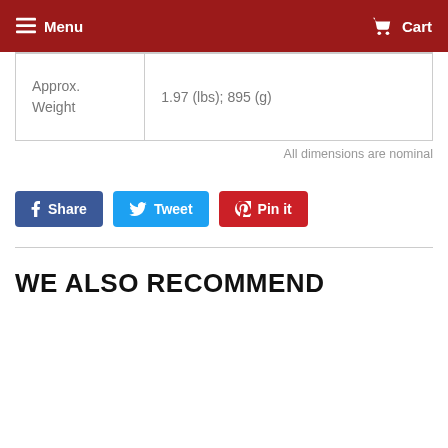Menu  Cart
| Approx.
Weight | 1.97 (lbs); 895 (g) |
All dimensions are nominal
Share  Tweet  Pin it
WE ALSO RECOMMEND